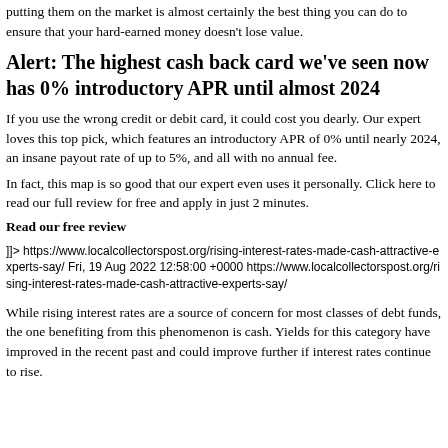putting them on the market is almost certainly the best thing you can do to ensure that your hard-earned money doesn't lose value.
Alert: The highest cash back card we've seen now has 0% introductory APR until almost 2024
If you use the wrong credit or debit card, it could cost you dearly. Our expert loves this top pick, which features an introductory APR of 0% until nearly 2024, an insane payout rate of up to 5%, and all with no annual fee.
In fact, this map is so good that our expert even uses it personally. Click here to read our full review for free and apply in just 2 minutes.
Read our free review
]]> https://www.localcollectorspost.org/rising-interest-rates-made-cash-attractive-experts-say/ Fri, 19 Aug 2022 12:58:00 +0000 https://www.localcollectorspost.org/rising-interest-rates-made-cash-attractive-experts-say/
While rising interest rates are a source of concern for most classes of debt funds, the one benefiting from this phenomenon is cash. Yields for this category have improved in the recent past and could improve further if interest rates continue to rise.